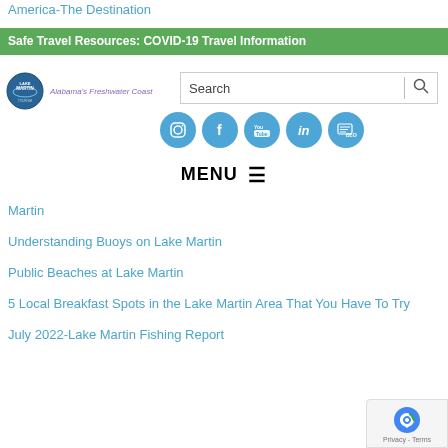America-The Destination
Safe Travel Resources: COVID-19 Travel Information
[Figure (logo): Lake Martin Tourism Association logo with tagline Alabama's Freshwater Coast]
[Figure (screenshot): Search bar with magnifying glass icon]
[Figure (infographic): Social media icons: Instagram, Facebook, YouTube, LinkedIn, Blog]
MENU
Martin
Understanding Buoys on Lake Martin
Public Beaches at Lake Martin
5 Local Breakfast Spots in the Lake Martin Area That You Have To Try
July 2022-Lake Martin Fishing Report